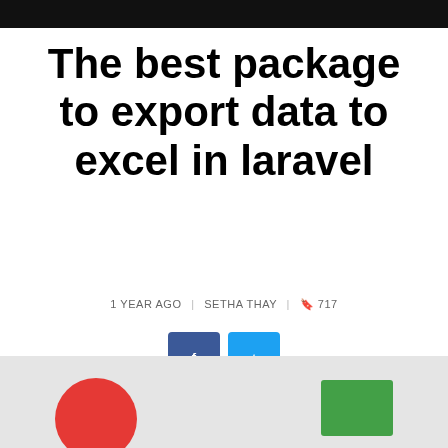The best package to export data to excel in laravel
1 YEAR AGO   SETHA THAY   🔖 717
[Figure (illustration): Two social share buttons: a dark blue Facebook button and a light blue Twitter button, each with a small icon]
[Figure (illustration): Bottom portion of a blog article image showing a light gray background with a red circle on the left and a green rectangle on the right]